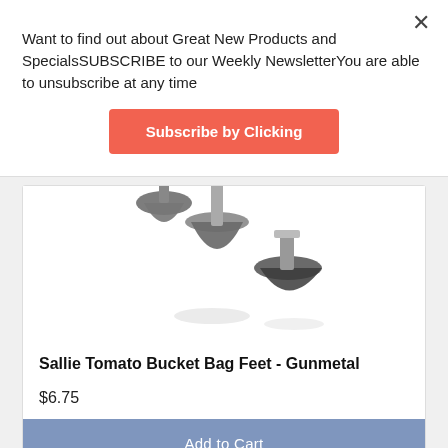Want to find out about Great New Products and SpecialsSUBSCRIBE to our Weekly NewsletterYou are able to unsubscribe at any time
[Figure (other): Red/coral Subscribe by Clicking button]
[Figure (photo): Product photo of Sallie Tomato Bucket Bag Feet in Gunmetal - two metallic conical bag feet on white background]
Sallie Tomato Bucket Bag Feet - Gunmetal
$6.75
[Figure (other): Blue Add to Cart button]